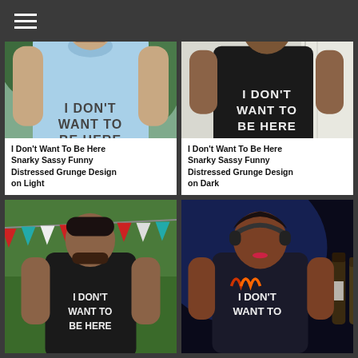☰
[Figure (photo): Man wearing a light blue t-shirt with 'I DON'T WANT TO BE HERE' text in distressed grunge font, outdoors with tropical plants background. OOPTEES.com watermark visible.]
I Don't Want To Be Here Snarky Sassy Funny Distressed Grunge Design on Light
[Figure (photo): Woman wearing a black t-shirt with 'I DON'T WANT TO BE HERE' text in distressed grunge font, indoors with white curtains background. OOPTEES.com watermark visible.]
I Don't Want To Be Here Snarky Sassy Funny Distressed Grunge Design on Dark
[Figure (photo): Man wearing a dark t-shirt with 'I DON'T WANT TO BE HERE' text, outdoors with colorful bunting flags background.]
[Figure (photo): Woman wearing a dark t-shirt with 'I DON'T WANT TO BE HERE' text, at a bar/club setting with beer bottles in background.]